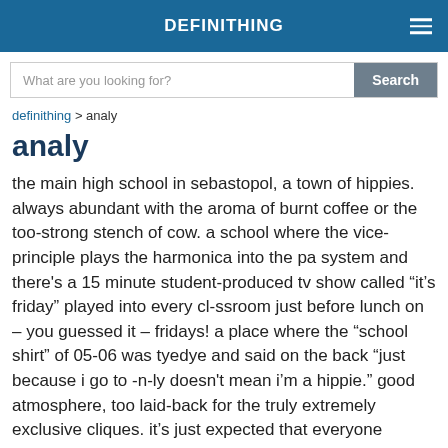DEFINITHING
What are you looking for?
definithing > analy
analy
the main high school in sebastopol, a town of hippies. always abundant with the aroma of burnt coffee or the too-strong stench of cow. a school where the vice-principle plays the harmonica into the pa system and there's a 15 minute student-produced tv show called “it’s friday” played into every cl-ssroom just before lunch on – you guessed it – fridays! a place where the “school shirt” of 05-06 was tyedye and said on the back “just because i go to -n-ly doesn't mean i’m a hippie.” good atmosphere, too laid-back for the truly extremely exclusive cliques. it’s just expected that everyone smokes weed – some of the teachers do too. the football players aren’t that big of a deal.. but the debators are. the “coolest” kids aren’t the cheerleaders – but the